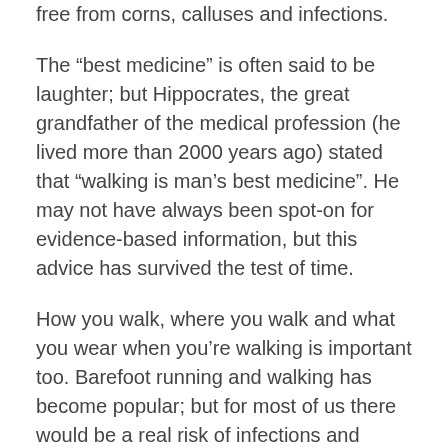free from corns, calluses and infections.
The “best medicine” is often said to be laughter; but Hippocrates, the great grandfather of the medical profession (he lived more than 2000 years ago) stated that “walking is man’s best medicine”. He may not have always been spot-on for evidence-based information, but this advice has survived the test of time.
How you walk, where you walk and what you wear when you’re walking is important too. Barefoot running and walking has become popular; but for most of us there would be a real risk of infections and foreign bodies embedded in the foot. With well-designed footwear, walking is a pleasant and reasonably easy